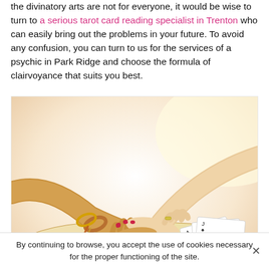the divinatory arts are not for everyone, it would be wise to turn to a serious tarot card reading specialist in Trenton who can easily bring out the problems in your future. To avoid any confusion, you can turn to us for the services of a psychic in Park Ridge and choose the formula of clairvoyance that suits you best.
[Figure (photo): Two hands touching over an open book with playing/tarot cards. One hand has red nail polish and bracelets with beads, the other is plain. The image has a warm, bright light background.]
By continuing to browse, you accept the use of cookies necessary for the proper functioning of the site.